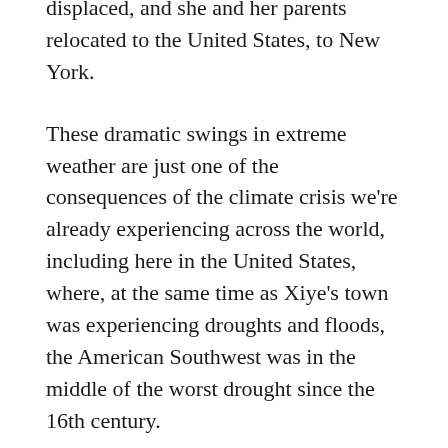displaced, and she and her parents relocated to the United States, to New York.
These dramatic swings in extreme weather are just one of the consequences of the climate crisis we're already experiencing across the world, including here in the United States, where, at the same time as Xiye's town was experiencing droughts and floods, the American Southwest was in the middle of the worst drought since the 16th century.
After relocating to New York, Xiye came face to face with another impact of the climate crisis in the lasting damage left by Superstorm Sandy.  Wherever she went, she saw how changes driven by climate were hurting communities.